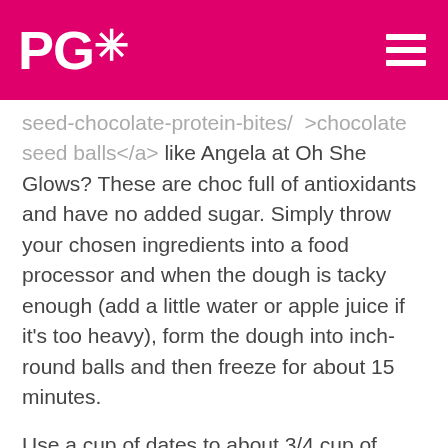PGX
seed-chocolate-protein-bites/  >chocolate seed balls</a> like Angela at Oh She Glows? These are choc full of antioxidants and have no added sugar. Simply throw your chosen ingredients into a food processor and when the dough is tacky enough (add a little water or apple juice if it's too heavy), form the dough into inch-round balls and then freeze for about 15 minutes.
Use a cup of dates to about 3/4 cup of ground nuts and/or seeds, add a 1/4 cup cocoa powder, a dash of vanilla extract (or try peppermint extract!), a 1/4 tsp of cinnamon for a little